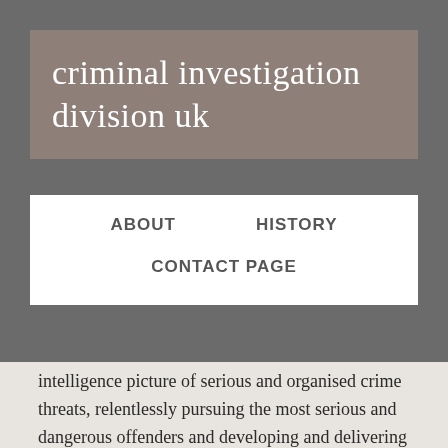criminal investigation division uk
ABOUT
HISTORY
CONTACT PAGE
intelligence picture of serious and organised crime threats, relentlessly pursuing the most serious and dangerous offenders and developing and delivering specialist capabilities on behalf of law enforcement and other